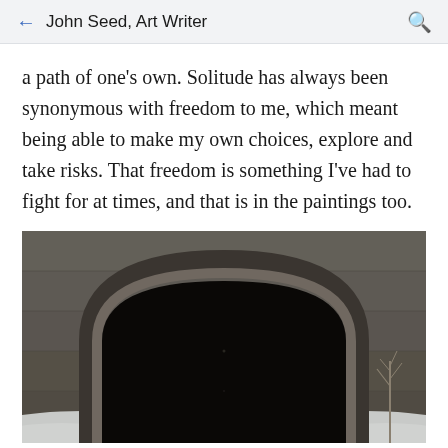John Seed, Art Writer
a path of one's own. Solitude has always been synonymous with freedom to me, which meant being able to make my own choices, explore and take risks. That freedom is something I've had to fight for at times, and that is in the paintings too.
[Figure (photo): A dark tunnel entrance with a stone arch surround, viewed from outside in winter. Snow is visible at the bottom, and bare trees can be seen to the right. The tunnel interior is completely dark.]